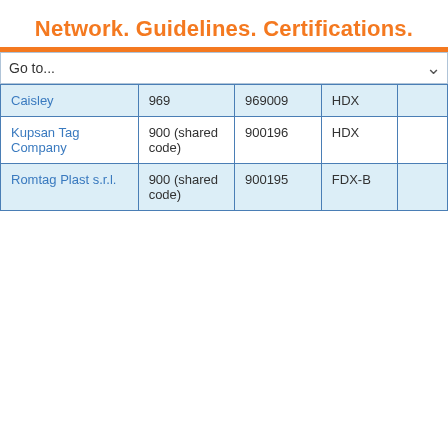Network. Guidelines. Certifications.
| Company | Code | Number | Type |  |
| --- | --- | --- | --- | --- |
| Caisley | 969 | 969009 | HDX |  |
| Kupsan Tag Company | 900 (shared code) | 900196 | HDX |  |
| Romtag Plast s.r.l. | 900 (shared code) | 900195 | FDX-B |  |